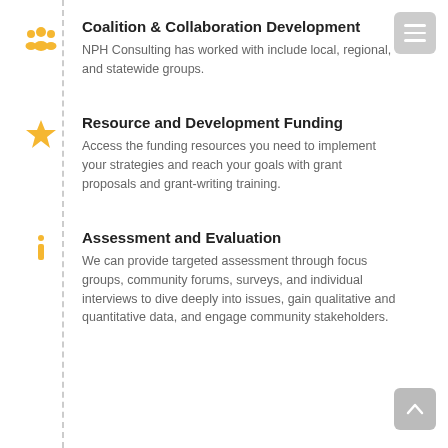Coalition & Collaboration Development
NPH Consulting has worked with include local, regional, and statewide groups.
Resource and Development Funding
Access the funding resources you need to implement your strategies and reach your goals with grant proposals and grant-writing training.
Assessment and Evaluation
We can provide targeted assessment through focus groups, community forums, surveys, and individual interviews to dive deeply into issues, gain qualitative and quantitative data, and engage community stakeholders.